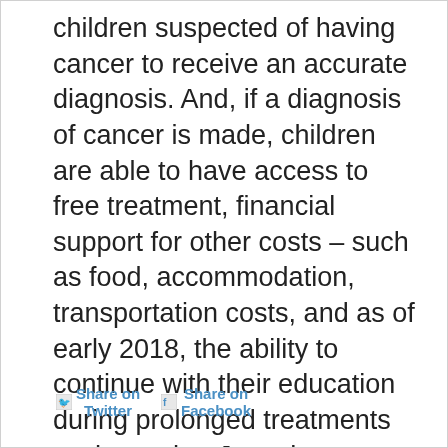children suspected of having cancer to receive an accurate diagnosis.  And, if a diagnosis of cancer is made, children are able to have access to free treatment, financial support for other costs – such as food, accommodation, transportation costs, and as of early 2018, the ability to continue with their education during prolonged treatments such as what Joseph underwent.  Thank you so much for your support.
Share on Twitter
Share on Facebook